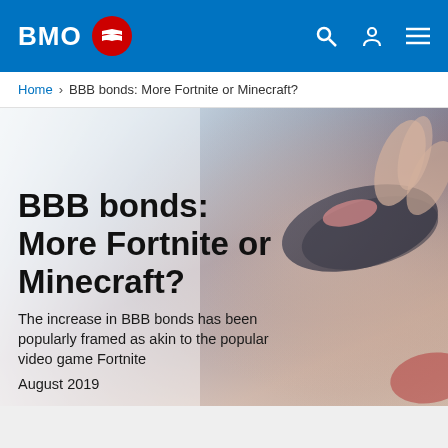BMO
Home > BBB bonds: More Fortnite or Minecraft?
BBB bonds: More Fortnite or Minecraft?
The increase in BBB bonds has been popularly framed as akin to the popular video game Fortnite
August 2019